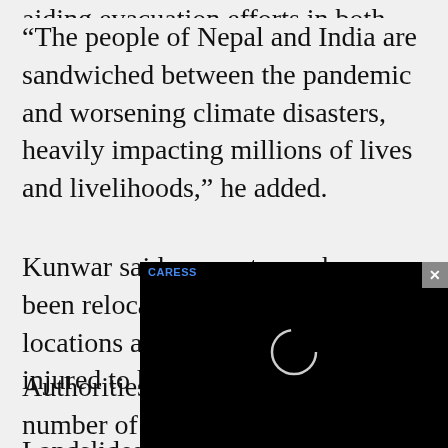aiding evacuation efforts in both countries.
“The people of Nepal and India are sandwiched between the pandemic and worsening climate disasters, heavily impacting millions of lives and livelihoods,” he added.
Kunwar said rescue teams have been relocating people to safer locations and taking dozens of injured to hospitals.
Authorities were s[tocking up on the] number of displace[d people and assessing] damage.
[Figure (screenshot): Video player overlay with black background, a loading spinner circle in the center, a blue 'CARESS' label in the top left, and a grey close (x) button in the top right corner.]
Landslides and floo[ds swept through] India’s Himalayan north. Scientists say they